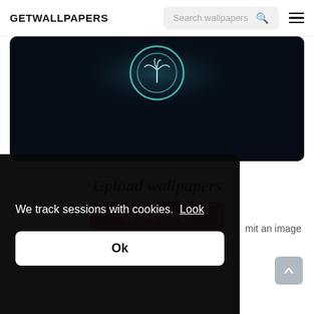GETWALLPAPERS
[Figure (screenshot): Dark wallpaper image with a glowing circular palm tree emblem on a near-black background]
Upload wallpapers
[Figure (other): Red Upload image button]
mit an image
We track sessions with cookies.  Look
Ok